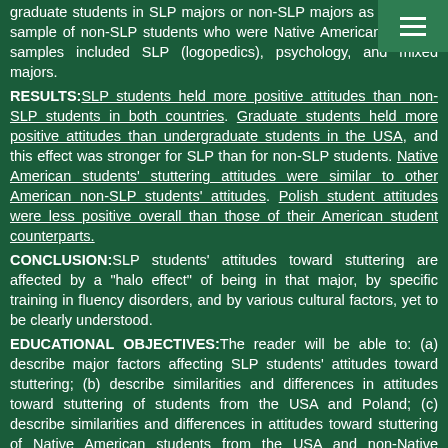graduate students in SLP majors or non-SLP majors as well as a sample of non-SLP students who were Native Americans. Polish samples included SLP (logopedics), psychology, and mixed majors.
RESULTS:SLP students held more positive attitudes than non-SLP students in both countries. Graduate students held more positive attitudes than undergraduate students in the USA, and this effect was stronger for SLP than for non-SLP students. Native American students' stuttering attitudes were similar to other American non-SLP students' attitudes. Polish student attitudes were less positive overall than those of their American student counterparts.
CONCLUSION:SLP students' attitudes toward stuttering are affected by a "halo effect" of being in that major, by specific training in fluency disorders, and by various cultural factors, yet to be clearly understood.
EDUCATIONAL OBJECTIVES:The reader will be able to: (a) describe major factors affecting SLP students' attitudes toward stuttering; (b) describe similarities and differences in attitudes toward stuttering of students from the USA and Poland; (c) describe similarities and differences in attitudes toward stuttering of Native American students from the USA and non-Native American students.
PMID: 24759192 [PubMed - indexed for MEDLINE]